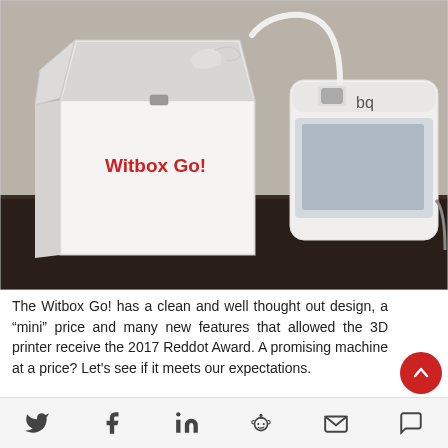[Figure (photo): Photo of a Witbox Go! 3D printer next to its white box packaging on a dark table. The box has 'Witbox Go!' printed in red text. The printer is white and compact with 'bq' branding, and has a filament tube arching over the top.]
The Witbox Go! has a clean and well thought out design, a "mini" price and many new features that allowed the 3D printer receive the 2017 Reddot Award. A promising machine at a price? Let's see if it meets our expectations.
[social share icons: Twitter, Facebook, LinkedIn, Reddit, Email, Comment]